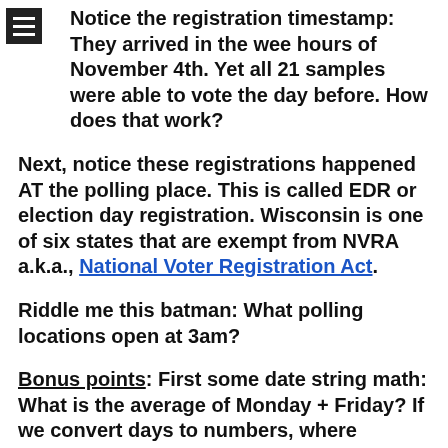Notice the registration timestamp: They arrived in the wee hours of November 4th. Yet all 21 samples were able to vote the day before. How does that work?
Next, notice these registrations happened AT the polling place. This is called EDR or election day registration. Wisconsin is one of six states that are exempt from NVRA a.k.a., National Voter Registration Act.
Riddle me this batman: What polling locations open at 3am?
Bonus points: First some date string math: What is the average of Monday + Friday? If we convert days to numbers, where Monday=1 and Friday=5, the answer is 6/2 or 3 = Wednesday. To determine the average